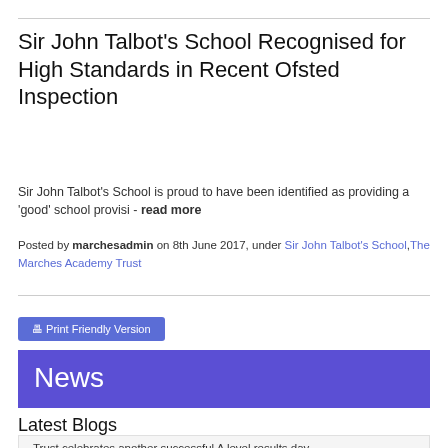Sir John Talbot’s School Recognised for High Standards in Recent Ofsted Inspection
Sir John Talbot’s School is proud to have been identified as providing a ‘good’ school provisi - read more
Posted by marchesadmin on 8th June 2017, under Sir John Talbot’s School,The Marches Academy Trust
🖶 Print Friendly Version
News
Latest Blogs
Trust celebrates another successful A level results day